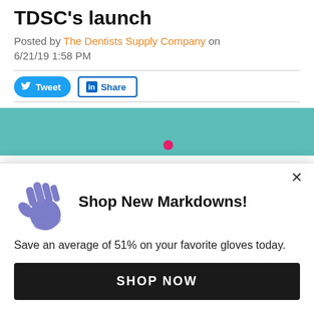TDSC's launch
Posted by The Dentists Supply Company on 6/21/19 1:58 PM
[Figure (screenshot): Social share buttons: Tweet and LinkedIn Share]
[Figure (screenshot): Teal/turquoise banner image with a pink dot element visible]
[Figure (infographic): Popup modal with glove emoji, Shop New Markdowns! heading, body text, and SHOP NOW button]
Shop New Markdowns!
Save an average of 51% on your favorite gloves today.
SHOP NOW